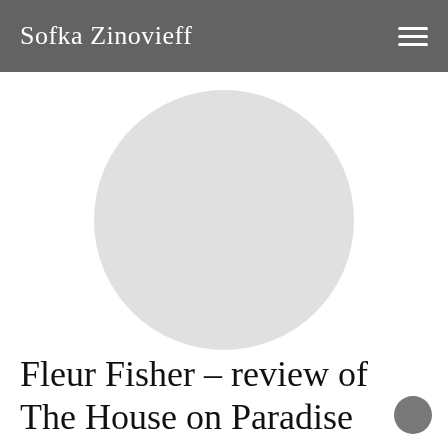Sofka Zinovieff
[Figure (illustration): A large light grey circle placeholder image centered on white background]
Fleur Fisher – review of The House on Paradise